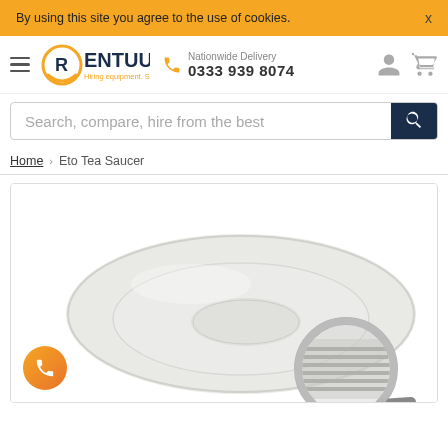By using this site you agree to the use of cookies.
[Figure (logo): Rentuu logo with orange circle R and text RENTUU, tagline Hiring equipment. Simply.]
Nationwide Delivery
0333 939 8074
Search, compare, hire from the best
Home > Eto Tea Saucer
[Figure (photo): White Eto Tea Saucer on white background with a magnifying glass overlay in the lower right portion of the image]